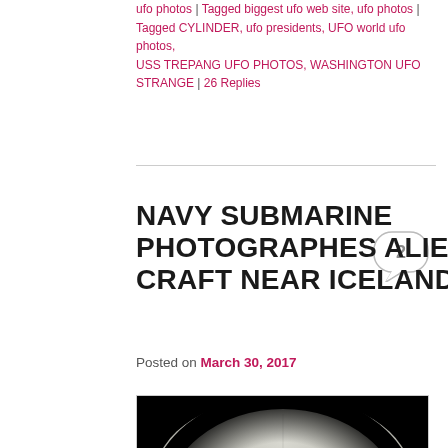ufo photos | Tagged biggest ufo web site, ufo photos | Tagged CYLINDER, ufo presidents, UFO world ufo photos, USS TREPANG UFO PHOTOS, WASHINGTON UFO STRANGE | 26 Replies
NAVY SUBMARINE PHOTOGRAPHES ALIEN CRAFT NEAR ICELAND
Posted on March 30, 2017
[Figure (photo): Black and white periscope photograph showing a dark disc-shaped object hovering above a body of water with reflective waves, taken from a submarine periscope with circular vignette framing]